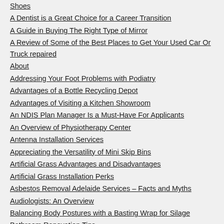Shoes
A Dentist is a Great Choice for a Career Transition
A Guide in Buying The Right Type of Mirror
A Review of Some of the Best Places to Get Your Used Car Or Truck repaired
About
Addressing Your Foot Problems with Podiatry
Advantages of a Bottle Recycling Depot
Advantages of Visiting a Kitchen Showroom
An NDIS Plan Manager Is a Must-Have For Applicants
An Overview of Physiotherapy Center
Antenna Installation Services
Appreciating the Versatility of Mini Skip Bins
Artificial Grass Advantages and Disadvantages
Artificial Grass Installation Perks
Asbestos Removal Adelaide Services – Facts and Myths
Audiologists: An Overview
Balancing Body Postures with a Basting Wrap for Silage
Bathroom Renovation Tips